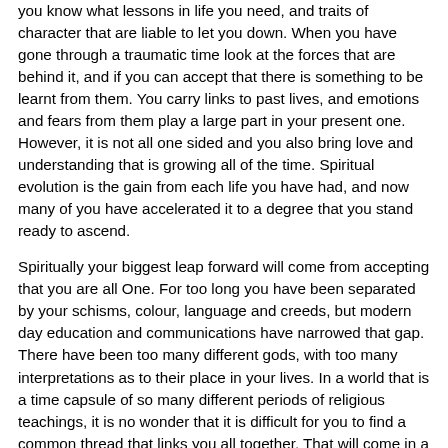you know what lessons in life you need, and traits of character that are liable to let you down. When you have gone through a traumatic time look at the forces that are behind it, and if you can accept that there is something to be learnt from them. You carry links to past lives, and emotions and fears from them play a large part in your present one. However, it is not all one sided and you also bring love and understanding that is growing all of the time. Spiritual evolution is the gain from each life you have had, and now many of you have accelerated it to a degree that you stand ready to ascend.
Spiritually your biggest leap forward will come from accepting that you are all One. For too long you have been separated by your schisms, colour, language and creeds, but modern day education and communications have narrowed that gap. There have been too many different gods, with too many interpretations as to their place in your lives. In a world that is a time capsule of so many different periods of religious teachings, it is no wonder that it is difficult for you to find a common thread that links you all together. That will come in a relatively short time, but only if people are prepared to ease their rigid hold to their beliefs. The truth will be presented in such a way that everyone shall have the opportunity to consider it. Ascended Beings shall return to Earth for this purpose, and help ease the change in different